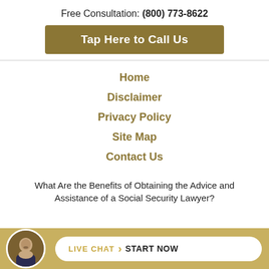Free Consultation: (800) 773-8622
Tap Here to Call Us
Home
Disclaimer
Privacy Policy
Site Map
Contact Us
What Are the Benefits of Obtaining the Advice and Assistance of a Social Security Lawyer?
[Figure (photo): Circular avatar photo of a man in a suit]
LIVE CHAT › START NOW